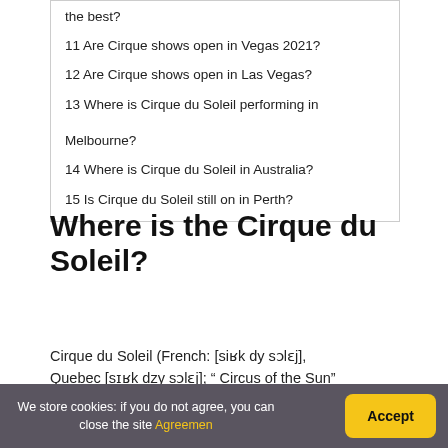the best?
11 Are Cirque shows open in Vegas 2021?
12 Are Cirque shows open in Las Vegas?
13 Where is Cirque du Soleil performing in Melbourne?
14 Where is Cirque du Soleil in Australia?
15 Is Cirque du Soleil still on in Perth?
Where is the Cirque du Soleil?
Cirque du Soleil (French: [siʁk dy sɔlɛj], Quebec [sɪʁk dzy sɔlɛj]; “ Circus of the Sun”
We store cookies: if you do not agree, you can close the site Agreemen